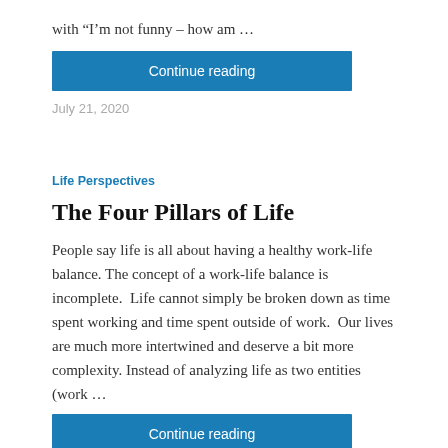with “I’m not funny – how am …
Continue reading
July 21, 2020
Life Perspectives
The Four Pillars of Life
People say life is all about having a healthy work-life balance. The concept of a work-life balance is incomplete.  Life cannot simply be broken down as time spent working and time spent outside of work.  Our lives are much more intertwined and deserve a bit more complexity. Instead of analyzing life as two entities (work …
Continue reading
July 14, 2020